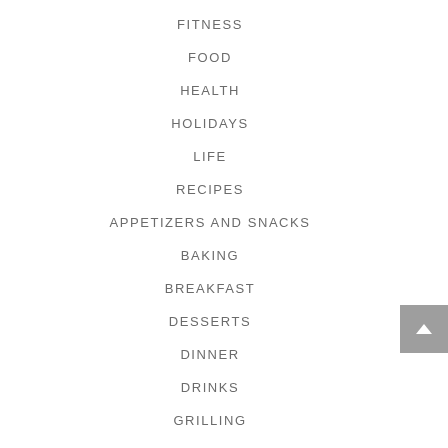FITNESS
FOOD
HEALTH
HOLIDAYS
LIFE
RECIPES
APPETIZERS AND SNACKS
BAKING
BREAKFAST
DESSERTS
DINNER
DRINKS
GRILLING